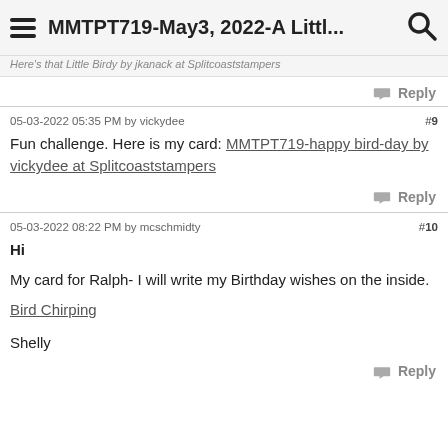MMTPT719-May3, 2022-A Littl...
Here's that Little Birdy by jkanack at Splitcoaststampers
Reply
05-03-2022 05:35 PM by vickydee  #9
Fun challenge. Here is my card: MMTPT719-happy bird-day by vickydee at Splitcoaststampers
Reply
05-03-2022 08:22 PM by mcschmidty  #10
Hi
My card for Ralph- I will write my Birthday wishes on the inside.
Bird Chirping
Shelly
Reply